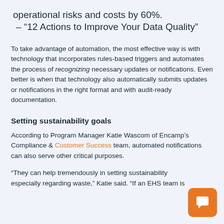operational risks and costs by 60%.
– “12 Actions to Improve Your Data Quality”
To take advantage of automation, the most effective way is with technology that incorporates rules-based triggers and automates the process of recognizing necessary updates or notifications. Even better is when that technology also automatically submits updates or notifications in the right format and with audit-ready documentation.
Setting sustainability goals
According to Program Manager Katie Wascom of Encamp’s Compliance & Customer Success team, automated notifications can also serve other critical purposes.
“They can help tremendously in setting sustainability… especially regarding waste,” Katie said. “If an EHS team is